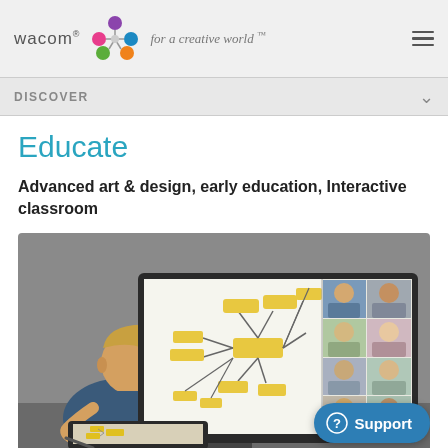[Figure (logo): Wacom logo with colorful circular icon and tagline 'for a creative world']
DISCOVER
Educate
Advanced art & design, early education, Interactive classroom
[Figure (illustration): Illustration of a person using a Wacom tablet in front of a large monitor showing a mind-map diagram and a video conference grid with multiple participants]